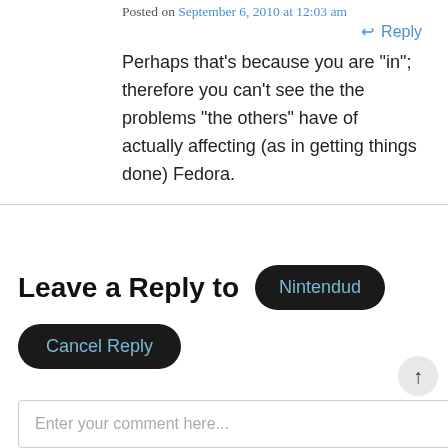Posted on September 6, 2010 at 12:03 am
↩ Reply
Perhaps that's because you are "in"; therefore you can't see the the problems "the others" have of actually affecting (as in getting things done) Fedora.
Leave a Reply to  Nintendud
Cancel Reply
Enter your comment here...